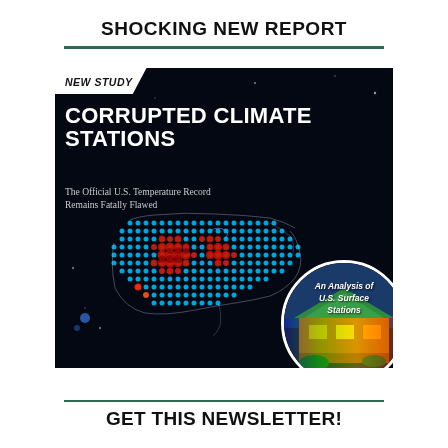SHOCKING NEW REPORT
[Figure (illustration): Book/report cover for 'CORRUPTED CLIMATE STATIONS: The Official U.S. Temperature Record Remains Fatally Flawed'. Dark background with a visualization of the US map made of colored data points (blue and red dots), with a circular inset image showing a thermal/infrared photo of a building with text 'An Analysis of U.S. Surface Stations'. Top-left corner has a white banner reading 'NEW STUDY'.]
GET THIS NEWSLETTER!